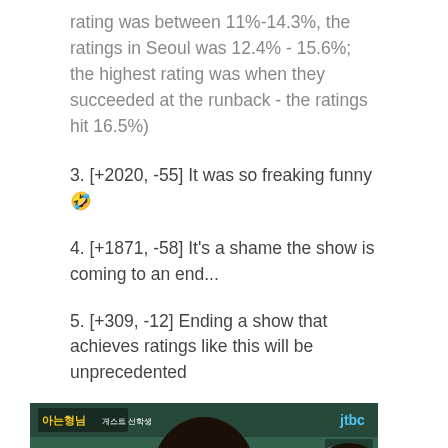rating was between 11%-14.3%, the ratings in Seoul was 12.4% - 15.6%; the highest rating was when they succeeded at the runback - the ratings hit 16.5%)
3. [+2020, -55] It was so freaking funny 🤣
4. [+1871, -58] It's a shame the show is coming to an end...
5. [+309, -12] Ending a show that achieves ratings like this will be unprecedented
[Figure (screenshot): TV screenshot from JTBC show featuring a young woman in school uniform, with Korean text subtitles reading '강하게 보여줄게' and show title/logo overlay.]